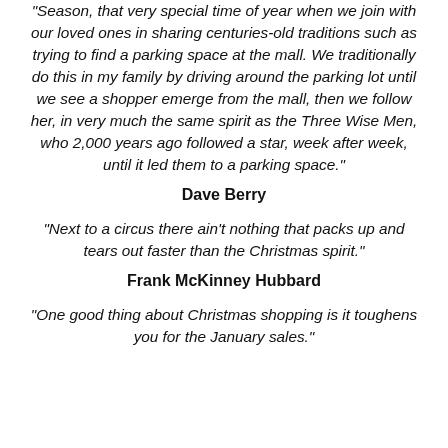“Season, that very special time of year when we join with our loved ones in sharing centuries-old traditions such as trying to find a parking space at the mall. We traditionally do this in my family by driving around the parking lot until we see a shopper emerge from the mall, then we follow her, in very much the same spirit as the Three Wise Men, who 2,000 years ago followed a star, week after week, until it led them to a parking space.”
Dave Berry
“Next to a circus there ain’t nothing that packs up and tears out faster than the Christmas spirit.”
Frank McKinney Hubbard
“One good thing about Christmas shopping is it toughens you for the January sales.”